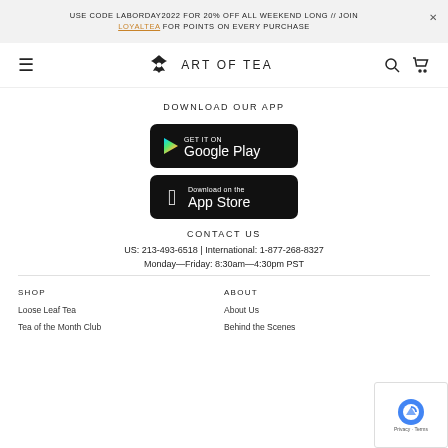USE CODE LABORDAY2022 FOR 20% OFF ALL WEEKEND LONG // JOIN LOYALTEA FOR POINTS ON EVERY PURCHASE
[Figure (logo): Art of Tea logo with flower icon and text 'ART OF TEA']
DOWNLOAD OUR APP
[Figure (screenshot): Google Play store download button badge]
[Figure (screenshot): Apple App Store download button badge]
CONTACT US
US: 213-493-6518 | International: 1-877-268-8327
Monday—Friday: 8:30am—4:30pm PST
SHOP
ABOUT
Loose Leaf Tea
About Us
Tea of the Month Club
Behind the Scenes